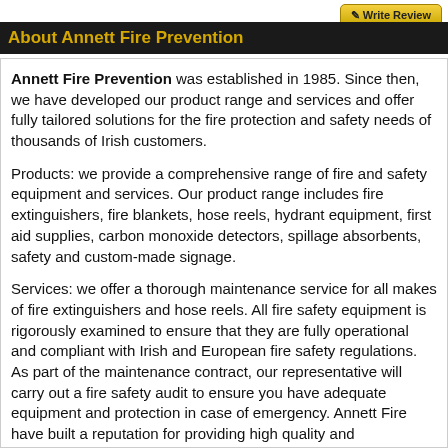About Annett Fire Prevention
Annett Fire Prevention was established in 1985. Since then, we have developed our product range and services and offer fully tailored solutions for the fire protection and safety needs of thousands of Irish customers.
Products: we provide a comprehensive range of fire and safety equipment and services. Our product range includes fire extinguishers, fire blankets, hose reels, hydrant equipment, first aid supplies, carbon monoxide detectors, spillage absorbents, safety and custom-made signage.
Services: we offer a thorough maintenance service for all makes of fire extinguishers and hose reels. All fire safety equipment is rigorously examined to ensure that they are fully operational and compliant with Irish and European fire safety regulations. As part of the maintenance contract, our representative will carry out a fire safety audit to ensure you have adequate equipment and protection in case of emergency. Annett Fire have built a reputation for providing high quality and competitively priced fire safety solutions.